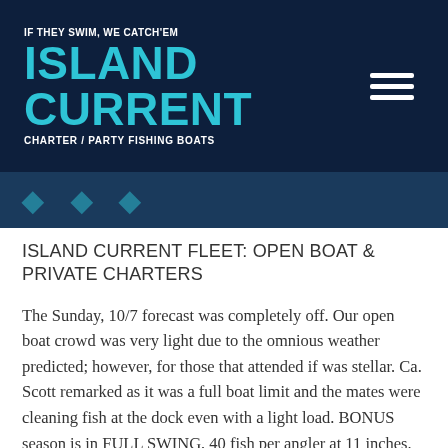IF THEY SWIM, WE CATCH'EM | ISLAND CURRENT | CHARTER / PARTY FISHING BOATS
ISLAND CURRENT FLEET: OPEN BOAT & PRIVATE CHARTERS
The Sunday, 10/7 forecast was completely off. Our open boat crowd was very light due to the omnious weather predicted; however, for those that attended if was stellar. Ca. Scott remarked as it was a full boat limit and the mates were cleaning fish at the dock even with a light load. BONUS season is in FULL SWING, 40 fish per angler at 11 inches. Please note BLACKFISH